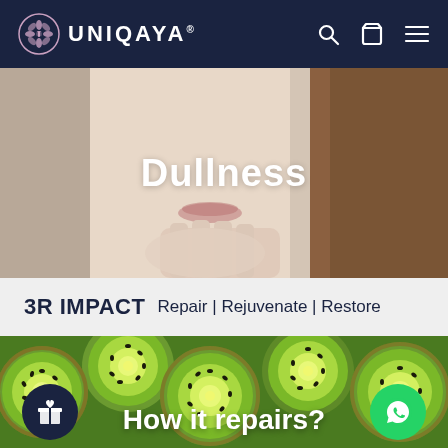UNIQAYA
[Figure (photo): Close-up photo of a woman touching her face/chin area, with soft lighting. Text overlay reads 'Dullness' in white.]
Dullness
3R IMPACT  Repair | Rejuvenate | Restore
[Figure (photo): Close-up photo of sliced kiwi fruits arranged together, showing the green flesh and seeds. Overlaid text reads 'How it repairs?']
How it repairs?